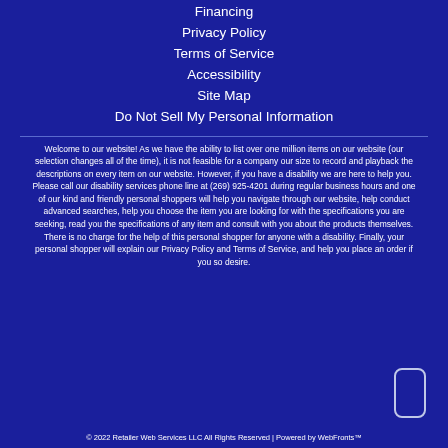Financing
Privacy Policy
Terms of Service
Accessibility
Site Map
Do Not Sell My Personal Information
Welcome to our website! As we have the ability to list over one million items on our website (our selection changes all of the time), it is not feasible for a company our size to record and playback the descriptions on every item on our website. However, if you have a disability we are here to help you. Please call our disability services phone line at (269) 925-4201 during regular business hours and one of our kind and friendly personal shoppers will help you navigate through our website, help conduct advanced searches, help you choose the item you are looking for with the specifications you are seeking, read you the specifications of any item and consult with you about the products themselves. There is no charge for the help of this personal shopper for anyone with a disability. Finally, your personal shopper will explain our Privacy Policy and Terms of Service, and help you place an order if you so desire.
© 2022 Retailer Web Services LLC All Rights Reserved | Powered by WebFronts™